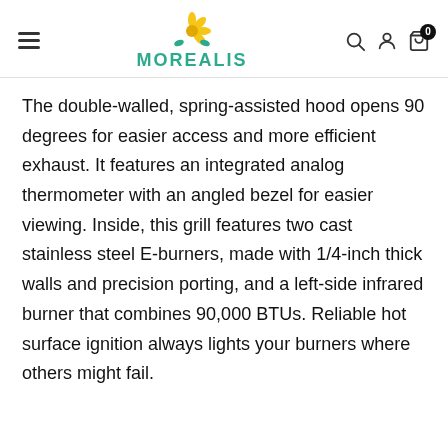MOREALIS
The double-walled, spring-assisted hood opens 90 degrees for easier access and more efficient exhaust. It features an integrated analog thermometer with an angled bezel for easier viewing. Inside, this grill features two cast stainless steel E-burners, made with 1/4-inch thick walls and precision porting, and a left-side infrared burner that combines 90,000 BTUs. Reliable hot surface ignition always lights your burners where others might fail.